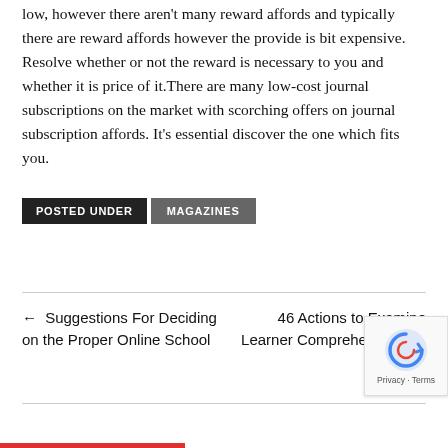low, however there aren't many reward affords and typically there are reward affords however the provide is bit expensive. Resolve whether or not the reward is necessary to you and whether it is price of it.There are many low-cost journal subscriptions on the market with scorching offers on journal subscription affords. It's essential discover the one which fits you.
POSTED UNDER  MAGAZINES
← Suggestions For Deciding on the Proper On-line School
46 Actions to Examine Learner Comprehension →